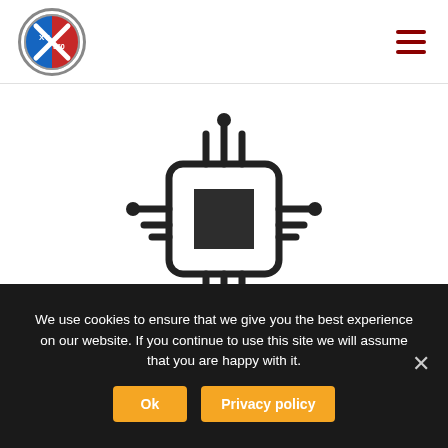XV360 logo and navigation hamburger menu
[Figure (illustration): Microchip/processor icon: a square chip with rounded rectangle border, a smaller dark square in the center, and connection lines with circular endpoints extending from all four sides (top, bottom, left, right), representing a CPU or integrated circuit schematic illustration.]
We use cookies to ensure that we give you the best experience on our website. If you continue to use this site we will assume that you are happy with it.
Ok  Privacy policy  ×